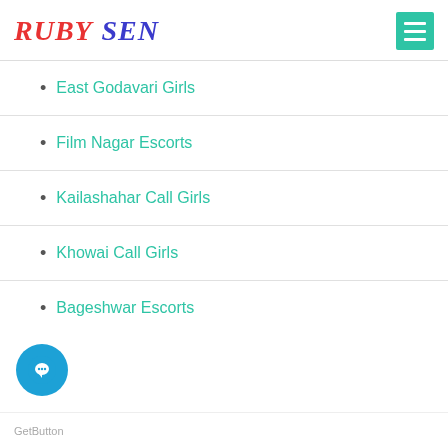RUBY SEN
East Godavari Girls
Film Nagar Escorts
Kailashahar Call Girls
Khowai Call Girls
Bageshwar Escorts